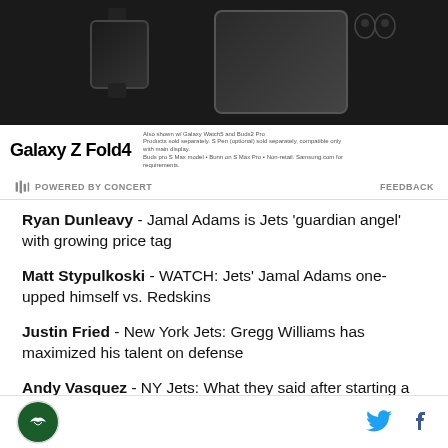[Figure (screenshot): Samsung Galaxy Z Fold4 advertisement banner showing phone, watch, earbuds, and pen on dark background with 'Galaxy Z Fold4' branding]
POWERED BY CONCERT    FEEDBACK
Ryan Dunleavy - Jamal Adams is Jets 'guardian angel' with growing price tag
Matt Stypulkoski - WATCH: Jets' Jamal Adams one-upped himself vs. Redskins
Justin Fried - New York Jets: Gregg Williams has maximized his talent on defense
Andy Vasquez - NY Jets: What they said after starting a winning streak
[Figure (logo): NY Jets circular logo with bird at bottom left, plus Twitter and Facebook icons at bottom right]